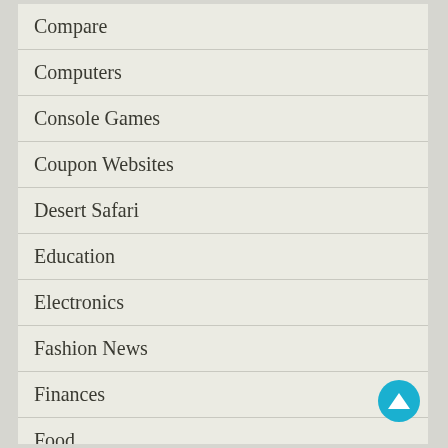Compare
Computers
Console Games
Coupon Websites
Desert Safari
Education
Electronics
Fashion News
Finances
Food
Food & Drink
Gambling